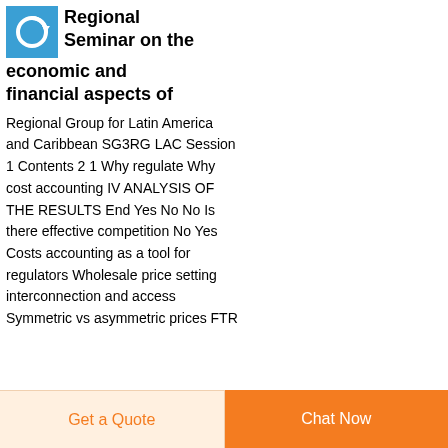[Figure (logo): Blue square logo with circular arrow/reload icon]
Regional Seminar on the economic and financial aspects of
Regional Group for Latin America and Caribbean SG3RG LAC Session 1 Contents 2 1 Why regulate Why cost accounting IV ANALYSIS OF THE RESULTS End Yes No No Is there effective competition No Yes Costs accounting as a tool for regulators Wholesale price setting interconnection and access Symmetric vs asymmetric prices FTR